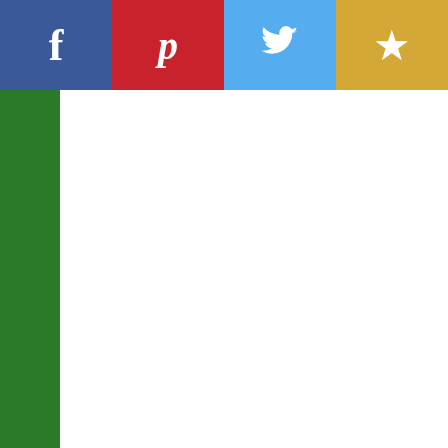[Figure (screenshot): Social share bar with Facebook (blue), Pinterest (red), Twitter (light blue), and Bookmark/Star (gold) buttons]
[Figure (screenshot): Green left sidebar]
Vinyl
[Figure (photo): Miami Dolphins: Helmet - Officially Licensed NFL Removable Wall Decal Large by Fathead | Vinyl product image link]
Miami Dolphins: Helmet - Officially Licensed NFL Removable Wall Decal Large by Fathead | Vinyl. Fins up to show your love for the Miami Dolphins. Bring the feeling of Hard Rock Stadium home with you with this iconic aqua, orange,
$24.
More Info
Buy N